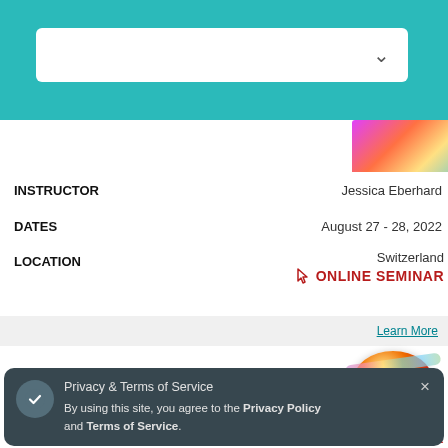[Figure (screenshot): Teal header bar with white search/dropdown box]
| Field | Value |
| --- | --- |
| INSTRUCTOR | Jessica Eberhard |
| DATES | August 27 - 28, 2022 |
| LOCATION | Switzerland / ONLINE SEMINAR |
|  | Learn More |
| TYPE | DIG DEEPER |
| INSTRUCTOR | MEHVASH HUSAIN / NAJMA HUSAIN |
| DATES | 2022 |
| LOCATION | Australia / ONLINE SEMINAR |
Privacy & Terms of Service
By using this site, you agree to the Privacy Policy and Terms of Service.